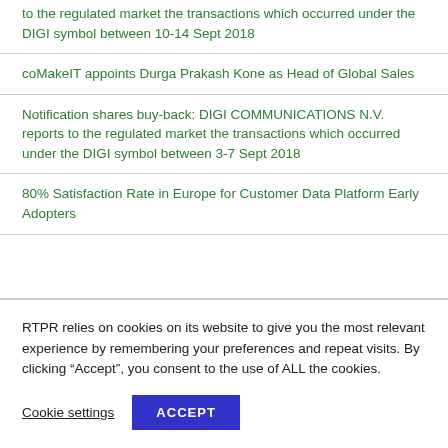to the regulated market the transactions which occurred under the DIGI symbol between 10-14 Sept 2018
coMakeIT appoints Durga Prakash Kone as Head of Global Sales
Notification shares buy-back: DIGI COMMUNICATIONS N.V. reports to the regulated market the transactions which occurred under the DIGI symbol between 3-7 Sept 2018
80% Satisfaction Rate in Europe for Customer Data Platform Early Adopters
RTPR relies on cookies on its website to give you the most relevant experience by remembering your preferences and repeat visits. By clicking “Accept”, you consent to the use of ALL the cookies.
Cookie settings
ACCEPT